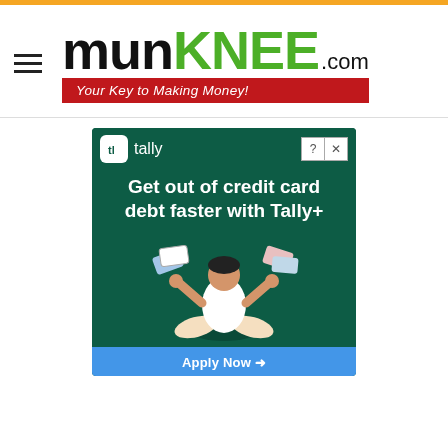[Figure (logo): munKNEE.com logo with tagline 'Your Key to Making Money!' on red background]
[Figure (illustration): Tally+ advertisement: 'Get out of credit card debt faster with Tally+' on dark green background with illustration of person juggling credit cards and Apply Now button]